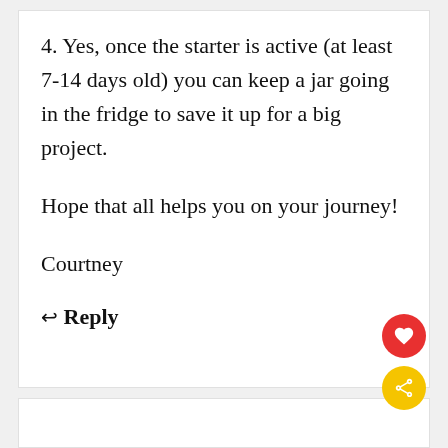4. Yes, once the starter is active (at least 7-14 days old) you can keep a jar going in the fridge to save it up for a big project.
Hope that all helps you on your journey!
Courtney
↩ Reply